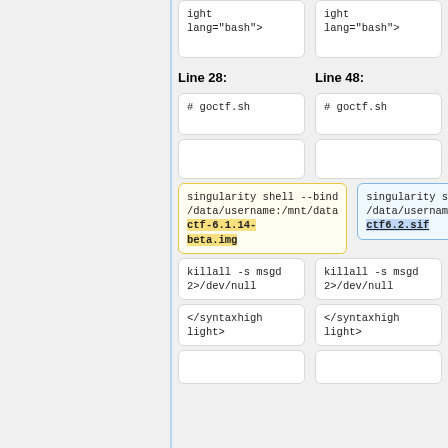ight
lang="bash">
ight
lang="bash">
Line 28:
Line 48:
# goctf.sh
# goctf.sh
singularity shell --bind /data/username:/mnt/data ctf-6.1.14-beta.img
singularity shell --bind /data/username:/mnt/data ctf6.2.sif
killall -s msgd 2>/dev/null
killall -s msgd 2>/dev/null
</syntaxhighlight>
</syntaxhighlight>